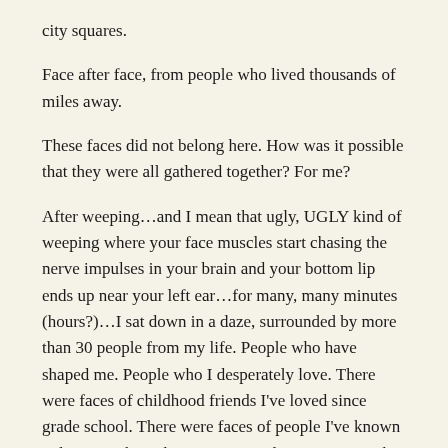city squares.
Face after face, from people who lived thousands of miles away.
These faces did not belong here. How was it possible that they were all gathered together? For me?
After weeping…and I mean that ugly, UGLY kind of weeping where your face muscles start chasing the nerve impulses in your brain and your bottom lip ends up near your left ear…for many, many minutes (hours?)…I sat down in a daze, surrounded by more than 30 people from my life. People who have shaped me. People who I desperately love. There were faces of childhood friends I've loved since grade school. There were faces of people I've known only a year, but who I've come to love just as much.